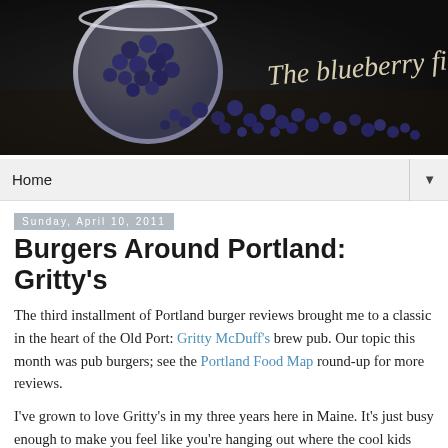[Figure (photo): Dark banner image with blueberries spilling from a white bowl on a dark wooden surface, with cursive text reading 'The blueberry files']
Home ▼
Sunday, April 10, 2011
Burgers Around Portland: Gritty's
The third installment of Portland burger reviews brought me to a classic in the heart of the Old Port: Gritty McDuff's brew pub. Our topic this month was pub burgers; see the Portland Food Map round-up for more reviews.
I've grown to love Gritty's in my three years here in Maine. It's just busy enough to make you feel like you're hanging out where the cool kids are, but not too busy that you can't find a seat. The food is good, standard pub fare, the house-made